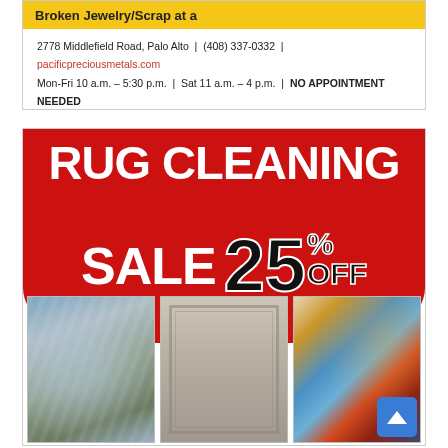[Figure (advertisement): Pacific Precious Metals ad with yellow banner showing 'Broken Jewelry/Scrap at a' text, address 2778 Middlefield Road, Palo Alto, phone (408) 337-0332, website pacificpreciousmetals.com, hours Mon-Fri 10 a.m. – 5:30 p.m., Sat 11 a.m. – 4 p.m., NO APPOINTMENT NEEDED]
[Figure (advertisement): Rug Cleaning Sale advertisement with red background showing 'RUG CLEANING SALE 25% OFF' in large white and black text, with three rug images below: blue-gray abstract rug, gray traditional rug, and colorful abstract rug. Blue back-to-top button in bottom right corner.]